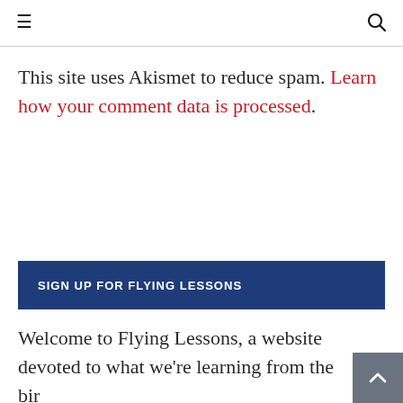≡ 🔍
This site uses Akismet to reduce spam. Learn how your comment data is processed.
SIGN UP FOR FLYING LESSONS
Welcome to Flying Lessons, a website devoted to what we're learning from the birds.